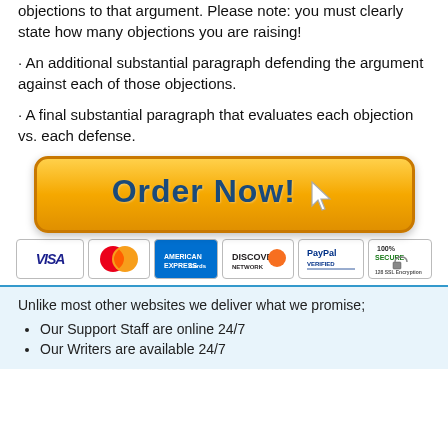objections to that argument. Please note: you must clearly state how many objections you are raising!
An additional substantial paragraph defending the argument against each of those objections.
A final substantial paragraph that evaluates each objection vs. each defense.
[Figure (other): Orange Order Now! button with cursor arrow icon]
[Figure (other): Payment icons: VISA, MasterCard, American Express, Discover, PayPal, 100% Secure 128 SSL Encryption]
Unlike most other websites we deliver what we promise;
Our Support Staff are online 24/7
Our Writers are available 24/7